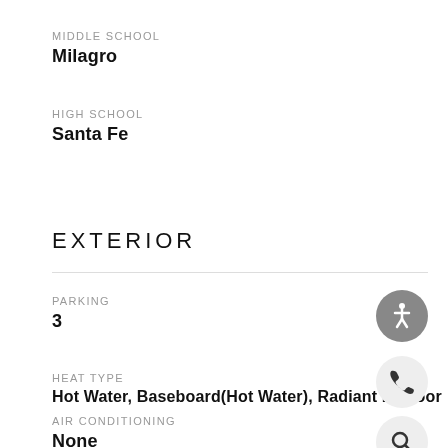MIDDLE SCHOOL
Milagro
HIGH SCHOOL
Santa Fe
EXTERIOR
PARKING
3
HEAT TYPE
Hot Water, Baseboard(Hot Water), Radiant in Floor
AIR CONDITIONING
None